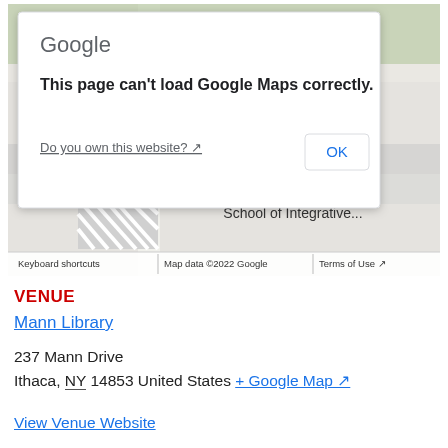[Figure (screenshot): Google Maps embed showing a map of Cornell University area with an error dialog: 'This page can't load Google Maps correctly.' with a 'Do you own this website?' link and an OK button. Map shows Cornell University School of Integrative... label and a parking pin. Bottom bar shows Keyboard shortcuts, Map data ©2022 Google, Terms of Use.]
VENUE
Mann Library
237 Mann Drive
Ithaca, NY 14853 United States + Google Map
View Venue Website